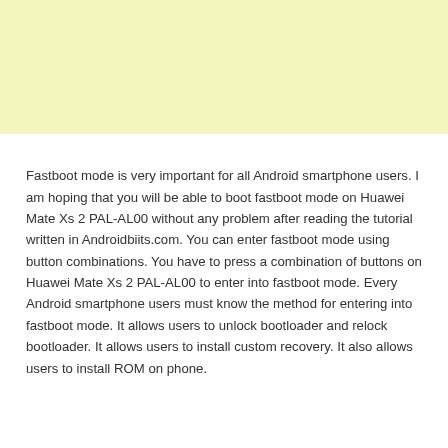[Figure (other): Yellow/cream colored banner or advertisement block at the top of the page]
Fastboot mode is very important for all Android smartphone users. I am hoping that you will be able to boot fastboot mode on Huawei Mate Xs 2 PAL-AL00 without any problem after reading the tutorial written in Androidbiits.com. You can enter fastboot mode using button combinations. You have to press a combination of buttons on Huawei Mate Xs 2 PAL-AL00 to enter into fastboot mode. Every Android smartphone users must know the method for entering into fastboot mode. It allows users to unlock bootloader and relock bootloader. It allows users to install custom recovery. It also allows users to install ROM on phone.